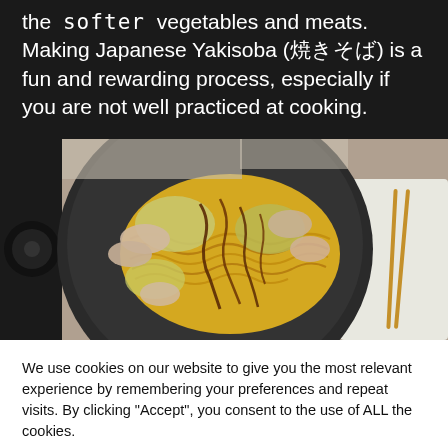the softer vegetables and meats. Making Japanese Yakisoba (焼きそば) is a fun and rewarding process, especially if you are not well practiced at cooking.
[Figure (photo): A bowl of Japanese Yakisoba noodles with pork and cabbage, topped with brown sauce, served in a dark round pan with chopsticks on the side]
We use cookies on our website to give you the most relevant experience by remembering your preferences and repeat visits. By clicking "Accept", you consent to the use of ALL the cookies.
Do not sell my personal information.
Cookie settings
ACCEPT